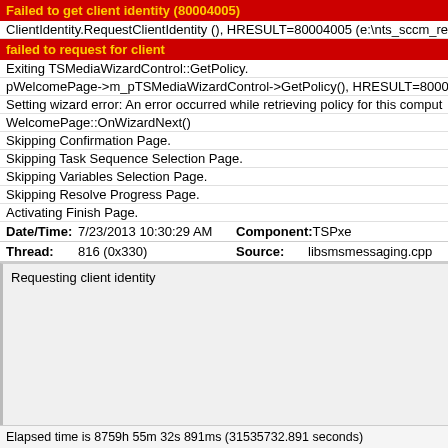Failed to get client identity (80004005)
ClientIdentity.RequestClientIdentity (), HRESULT=80004005 (e:\nts_sccm_rele...
failed to request for client
Exiting TSMediaWizardControl::GetPolicy.
pWelcomePage->m_pTSMediaWizardControl->GetPolicy(), HRESULT=80004...
Setting wizard error: An error occurred while retrieving policy for this comput...
WelcomePage::OnWizardNext()
Skipping Confirmation Page.
Skipping Task Sequence Selection Page.
Skipping Variables Selection Page.
Skipping Resolve Progress Page.
Activating Finish Page.
| Date/Time: | 7/23/2013 10:30:29 AM | Component: | TSPxe |
| --- | --- | --- | --- |
| Thread: | 816 (0x330) | Source: | libsmsmessaging.cpp |
Requesting client identity
Elapsed time is 8759h 55m 32s 891ms (31535732.891 seconds)